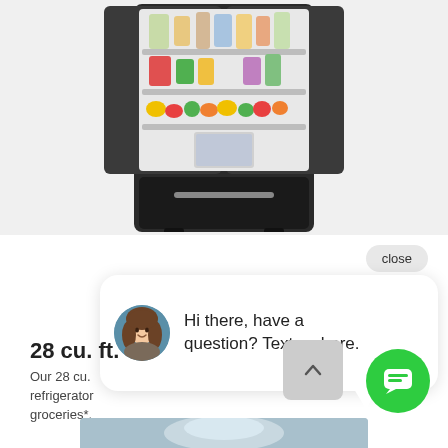[Figure (photo): Open French-door refrigerator filled with food and drinks, dark stainless steel finish, shown against white background]
close
[Figure (screenshot): Chat widget popup with avatar of a woman and text: Hi there, have a question? Text us here.]
28 cu. ft.
Our 28 cu. refrigerator groceries*.
[Figure (screenshot): Scroll-to-top button (upward chevron in grey rounded square)]
[Figure (screenshot): Green circular chat FAB button with message icon]
[Figure (photo): Bottom image strip showing partial product/lifestyle photo]